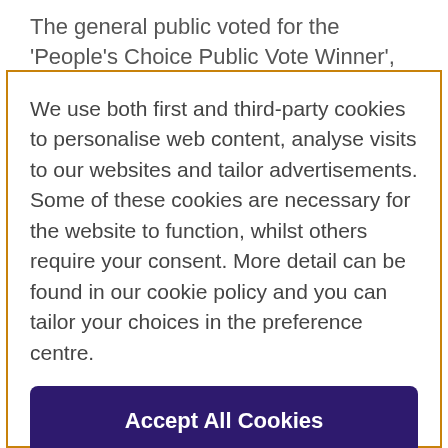The general public voted for the 'People's Choice Public Vote Winner', with over 80,000 people choosing their
We use both first and third-party cookies to personalise web content, analyse visits to our websites and tailor advertisements. Some of these cookies are necessary for the website to function, whilst others require your consent. More detail can be found in our cookie policy and you can tailor your choices in the preference centre.
Accept All Cookies
Cookies Settings